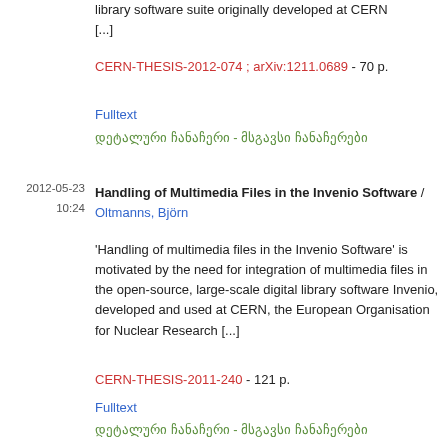library software suite originally developed at CERN [...]
CERN-THESIS-2012-074 ; arXiv:1211.0689 - 70 p.
Fulltext
დეტალური ჩანაჩერი - მსგავსი ჩანაჩერები
2012-05-23
10:24
Handling of Multimedia Files in the Invenio Software / Oltmanns, Björn
'Handling of multimedia files in the Invenio Software' is motivated by the need for integration of multimedia files in the open-source, large-scale digital library software Invenio, developed and used at CERN, the European Organisation for Nuclear Research [...]
CERN-THESIS-2011-240 - 121 p.
Fulltext
დეტალური ჩანაჩერი - მსგავსი ჩანაჩერები